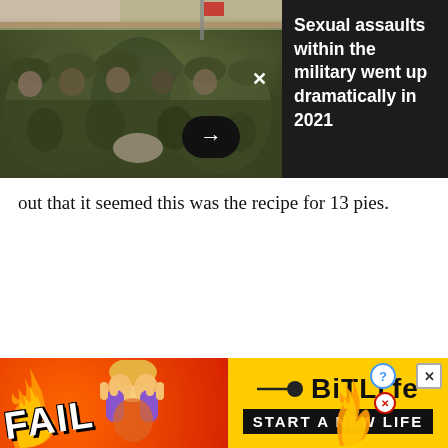[Figure (screenshot): News article ad overlay showing military personnel photo on left and headline on dark background on right: 'Sexual assaults within the military went up dramatically in 2021']
out that it seemed this was the recipe for 13 pies.
[Figure (screenshot): Advertisement banner for BitLife game showing FAIL text, animated character, flames, and 'START A NEW LIFE' text on yellow and red background]